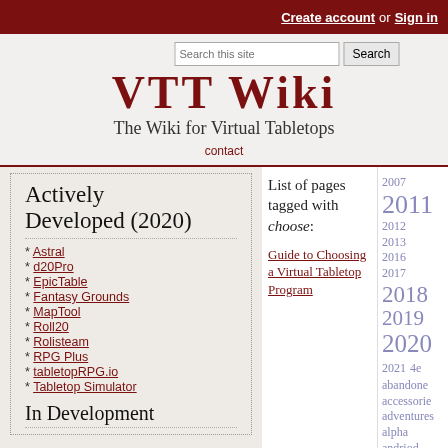Create account or Sign in
[Figure (logo): VTT Wiki logo with search bar]
The Wiki for Virtual Tabletops
contact
Actively Developed (2020)
Astral
d20Pro
EpicTable
Fantasy Grounds
MapTool
Roll20
Rolisteam
RPG Plus
tabletopRPG.io
Tabletop Simulator
In Development
List of pages tagged with choose:
Guide to Choosing a Virtual Tabletop Program
2007 2011 2012 2013 2016 2017 2018 2019 2020 2021 4e abandoned accessories adventures alpha andriod android astral astraltableto